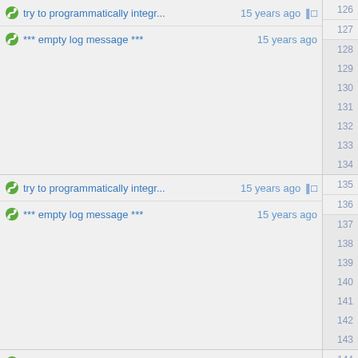try to programmatically integr...  15 years ago  126
*** empty log message ***  15 years ago  127
128
129
130
131
132
133
134
try to programmatically integr...  15 years ago  135
*** empty log message ***  15 years ago  136
137
138
139
140
141
142
143
rewrite seletc backend, port ag...  15 years ago  144
*** empty log message ***  15 years ago  145
146
147